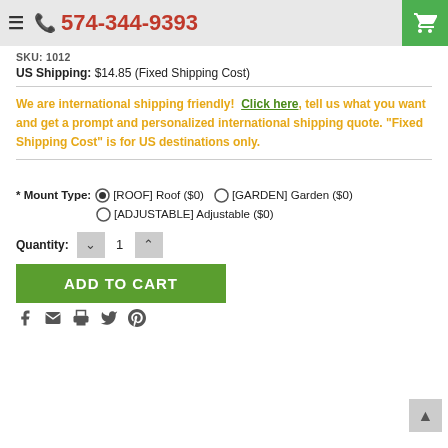574-344-9393
SKU: 1012
US Shipping: $14.85 (Fixed Shipping Cost)
We are international shipping friendly!  Click here, tell us what you want and get a prompt and personalized international shipping quote. "Fixed Shipping Cost" is for US destinations only.
* Mount Type:  [ROOF] Roof ($0)  [GARDEN] Garden ($0)  [ADJUSTABLE] Adjustable ($0)
Quantity: 1
ADD TO CART